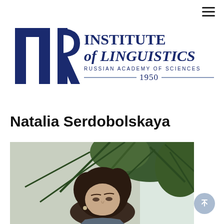[Figure (logo): Institute of Linguistics Russian Academy of Sciences logo with stylized IRL letters in dark blue]
INSTITUTE of LINGUISTICS
RUSSIAN ACADEMY OF SCIENCES
1950
Natalia Serdobolskaya
[Figure (photo): Black and white photograph of Natalia Serdobolskaya, a woman with dark curly hair, seated near a green plant]